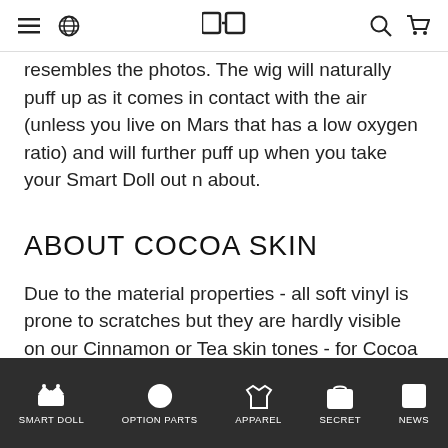[menu] [globe] [logo] [search] [cart]
resembles the photos. The wig will naturally puff up as it comes in contact with the air (unless you live on Mars that has a low oxygen ratio) and will further puff up when you take your Smart Doll out n about.
ABOUT COCOA SKIN
Due to the material properties - all soft vinyl is prone to scratches but they are hardly visible on our Cinnamon or Tea skin tones - for Cocoa
SMART DOLL | OPTION PARTS | APPAREL | SECRET | NEWS